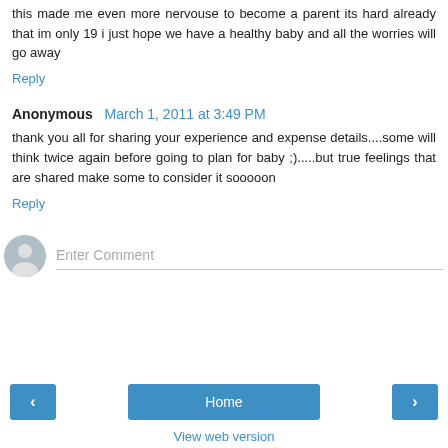this made me even more nervouse to become a parent its hard already that im only 19 i just hope we have a healthy baby and all the worries will go away
Reply
Anonymous  March 1, 2011 at 3:49 PM
thank you all for sharing your experience and expense details....some will think twice again before going to plan for baby ;).....but true feelings that are shared make some to consider it sooooon
Reply
Enter Comment
Home
View web version